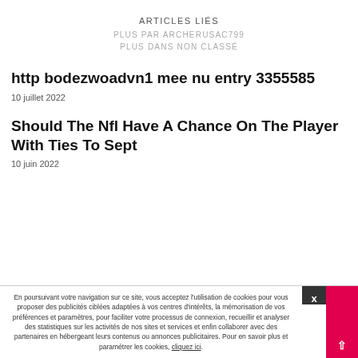ARTICLES LIÉS
PLUS PAR ARCHERUSAC799
PLUS DANS NON CLASSÉ
http bodezwoadvn1 mee nu entry 3355585
10 juillet 2022
Should The Nfl Have A Chance On The Player With Ties To Sept
10 juin 2022
En poursuivant votre navigation sur ce site, vous acceptez l'utilisation de cookies pour vous proposer des publicités ciblées adaptées à vos centres d'intérêts, la mémorisation de vos préférences et paramètres, pour faciliter votre processus de connexion, recueillir et analyser des statistiques sur les activités de nos sites et services et enfin collaborer avec des partenaires en hébergeant leurs contenus ou annonces publicitaires. Pour en savoir plus et paramétrer les cookies, cliquez ici.